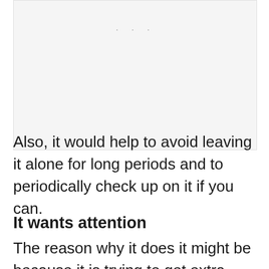[Figure (other): A light gray placeholder image area with three faint dots near the top center]
Also, it would help to avoid leaving it alone for long periods and to periodically check up on it if you can.
It wants attention
The reason why it does it might be because it is trying to get extra attention from you. This